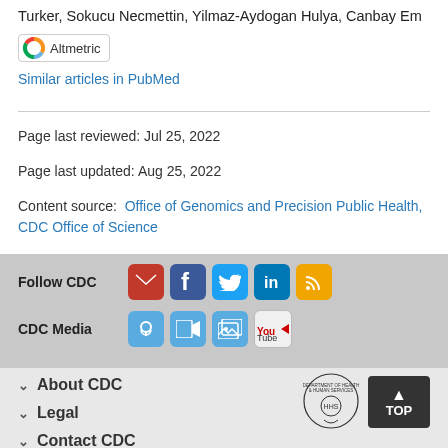Turker, Sokucu Necmettin, Yilmaz-Aydogan Hulya, Canbay Em
[Figure (other): Altmetric badge with colorful donut icon]
Similar articles in PubMed
Page last reviewed: Jul 25, 2022
Page last updated: Aug 25, 2022
Content source:  Office of Genomics and Precision Public Health, CDC Office of Science
[Figure (infographic): Follow CDC social media icons: email, Facebook, Twitter, LinkedIn, RSS]
[Figure (infographic): CDC Media icons: podcast, video, gallery, YouTube]
About CDC
Legal
Contact CDC
[Figure (logo): HHS Department of Health and Human Services seal]
[Figure (other): TOP button with up arrow]